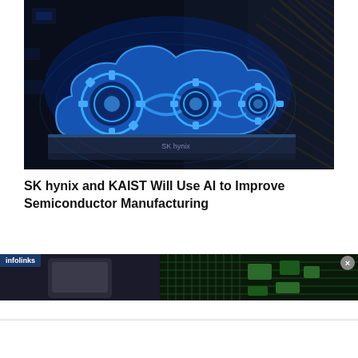[Figure (photo): Blue glowing cloud-shaped mechanical/semiconductor device with gears and circuits on a dark circuit board background]
SK hynix and KAIST Will Use AI to Improve Semiconductor Manufacturing
[Figure (screenshot): Advertisement banner from infolinks showing electronic components/circuit board image with a close button]